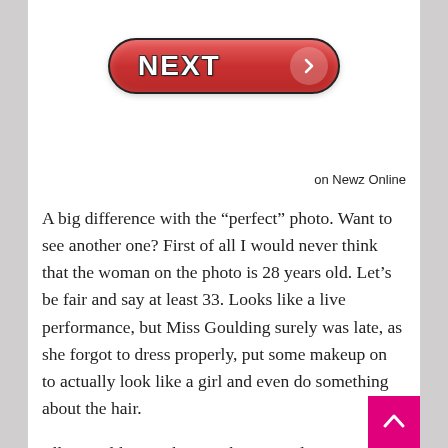[Figure (screenshot): A red pill-shaped NEXT button with white bold text 'NEXT' and a white chevron arrow in a circle on the right side]
on Newz Online
A big difference with the “perfect” photo. Want to see another one? First of all I would never think that the woman on the photo is 28 years old. Let’s be fair and say at least 33. Looks like a live performance, but Miss Goulding surely was late, as she forgot to dress properly, put some makeup on to actually look like a girl and even do something about the hair.
Ellie Goulding without makeup is a disappointment and looks nearly unrecognizable. Photoshop makes miracles and it is okay to use to improve the image or the looks of some celebrity, but take it too far and people would stop believing